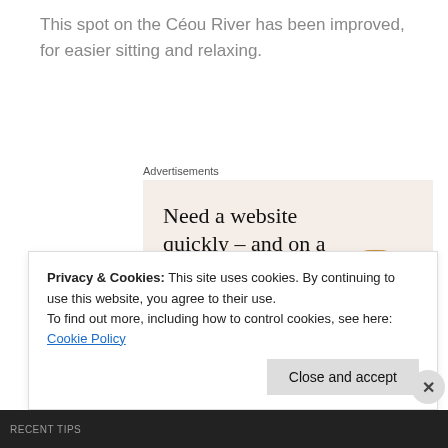This spot on the Céou River has been improved, for easier sitting and relaxing.
[Figure (infographic): Advertisement banner with beige background reading 'Need a website quickly – and on a budget? Let us build it for you' with a 'Let's get started' button and a circular cropped photo of hands on a laptop.]
Privacy & Cookies: This site uses cookies. By continuing to use this website, you agree to their use.
To find out more, including how to control cookies, see here: Cookie Policy
Close and accept